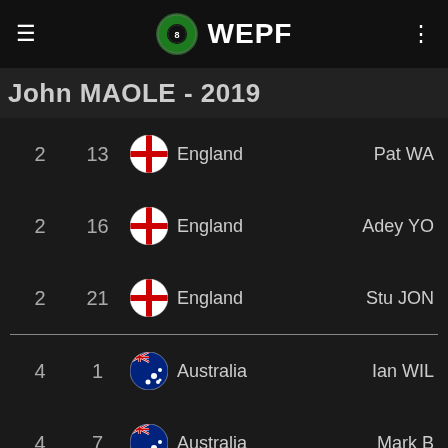WEPF
John MAOLE - 2019
|  |  | Flag | Country | Name |
| --- | --- | --- | --- | --- |
| 2 | 13 | England flag | England | Pat WA |
| 2 | 16 | England flag | England | Adey YO |
| 2 | 21 | England flag | England | Stu JON |
| 4 | 1 | Australia flag | Australia | Ian WIL |
| 4 | 7 | Australia flag | Australia | Mark B |
| 4 | 14 | Australia flag | Australia | Alan BF |